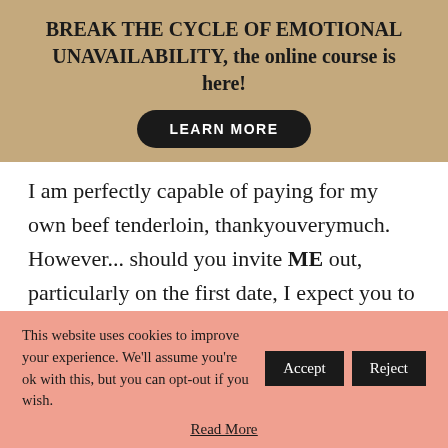BREAK THE CYCLE OF EMOTIONAL UNAVAILABILITY, the online course is here!
[Figure (other): LEARN MORE button — black rounded pill button with white bold uppercase text]
I am perfectly capable of paying for my own beef tenderloin, thankyouverymuch. However... should you invite ME out, particularly on the first date, I expect you to pay. That being said, should I
This website uses cookies to improve your experience. We'll assume you're ok with this, but you can opt-out if you wish. [Accept] [Reject]
Read More